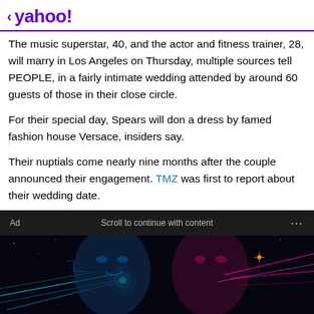< yahoo!
The music superstar, 40, and the actor and fitness trainer, 28, will marry in Los Angeles on Thursday, multiple sources tell PEOPLE, in a fairly intimate wedding attended by around 60 guests of those in their close circle.
For their special day, Spears will don a dress by famed fashion house Versace, insiders say.
Their nuptials come nearly nine months after the couple announced their engagement. TMZ was first to report about their wedding date.
[Figure (screenshot): Ad banner with sci-fi AI face image, dark background with blue and pink neon light streaks. Bar reads 'Ad  Scroll to continue with content  ...']